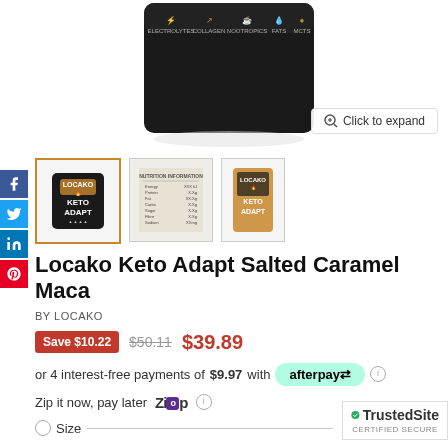[Figure (photo): Product image of Locako Keto Adapt supplement jar/packaging shown from top, dark colored container with icons for electrolytes, collagen, nootropics, fats, MCTs]
[Figure (photo): Thumbnail 1: Locako Keto Adapt jar - selected (gold border)]
[Figure (photo): Thumbnail 2: Nutrition information panel]
[Figure (photo): Thumbnail 3: Locako Keto Adapt pouch packaging]
Locako Keto Adapt Salted Caramel Maca
BY LOCAKO
Save $10.22  $50.11  $39.89
or 4 interest-free payments of $9.97 with afterpay
Zip it now, pay later  ZIP
Size